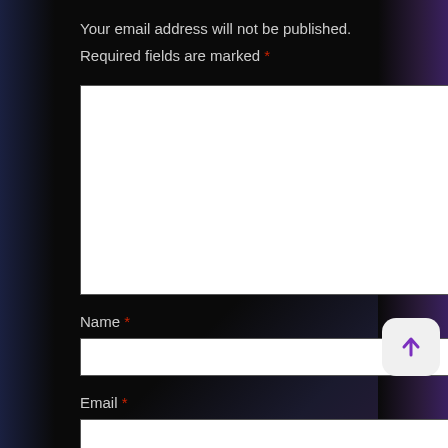Your email address will not be published.
Required fields are marked *
[Figure (other): Large white text area input box for comment entry]
Name *
[Figure (other): White input box for Name field]
Email *
[Figure (other): White input box for Email field]
[Figure (other): Scroll-to-top button with purple upward arrow on white rounded rectangle]
Website